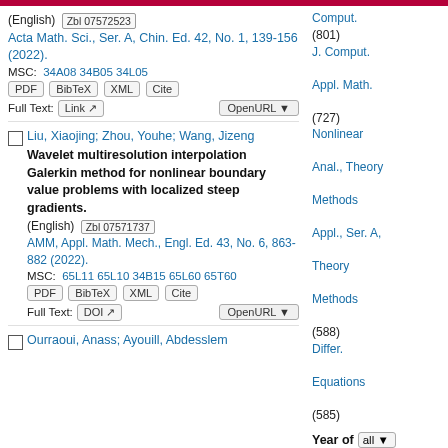(English) Zbl 07572523
Acta Math. Sci., Ser. A, Chin. Ed. 42, No. 1, 139-156 (2022).
MSC: 34A08 34B05 34L05
PDF BibTeX XML Cite
Full Text: Link OpenURL
Liu, Xiaojing; Zhou, Youhe; Wang, Jizeng
Wavelet multiresolution interpolation Galerkin method for nonlinear boundary value problems with localized steep gradients.
(English) Zbl 07571737
AMM, Appl. Math. Mech., Engl. Ed. 43, No. 6, 863-882 (2022).
MSC: 65L11 65L10 34B15 65L60 65T60
PDF BibTeX XML Cite
Full Text: DOI OpenURL
Ourraoui, Anass; Ayouill, Abdesslem
Comput. (801)
J. Comput. Appl. Math. (727)
Nonlinear Anal., Theory Methods Appl., Ser. A, Theory Methods (588)
Differ. Equations (585)
Year of all
Publication
2022 (631)
2021 (1,382)
2020 (1,437)
2019 (1,354)